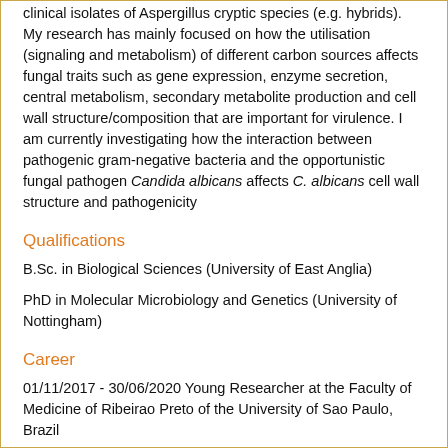clinical isolates of Aspergillus cryptic species (e.g. hybrids). My research has mainly focused on how the utilisation (signaling and metabolism) of different carbon sources affects fungal traits such as gene expression, enzyme secretion, central metabolism, secondary metabolite production and cell wall structure/composition that are important for virulence. I am currently investigating how the interaction between pathogenic gram-negative bacteria and the opportunistic fungal pathogen Candida albicans affects C. albicans cell wall structure and pathogenicity
Qualifications
B.Sc. in Biological Sciences (University of East Anglia)
PhD in Molecular Microbiology and Genetics (University of Nottingham)
Career
01/11/2017 - 30/06/2020 Young Researcher at the Faculty of Medicine of Ribeirao Preto of the University of Sao Paulo, Brazil